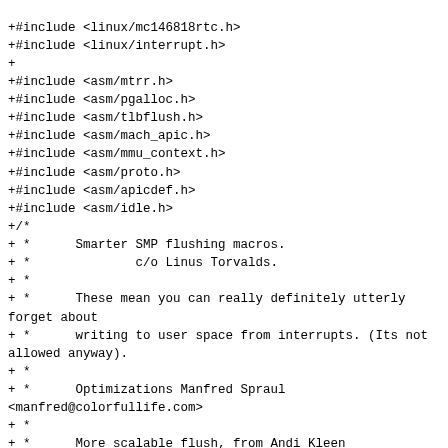+#include <linux/mc146818rtc.h>
+#include <linux/interrupt.h>
+
+#include <asm/mtrr.h>
+#include <asm/pgalloc.h>
+#include <asm/tlbflush.h>
+#include <asm/mach_apic.h>
+#include <asm/mmu_context.h>
+#include <asm/proto.h>
+#include <asm/apicdef.h>
+#include <asm/idle.h>
+/*
+ *      Smarter SMP flushing macros.
+ *              c/o Linus Torvalds.
+ *
+ *      These mean you can really definitely utterly forget about
+ *      writing to user space from interrupts. (Its not allowed anyway).
+ *
+ *      Optimizations Manfred Spraul <manfred@colorfullife.com>
+ *
+ *      More scalable flush, from Andi Kleen
+ *
+ *      To avoid global state use 8 different call vectors.
+ *      Each CPU uses a specific vector to trigger flushes on other
+ *      CPUs. Depending on the received vector, the